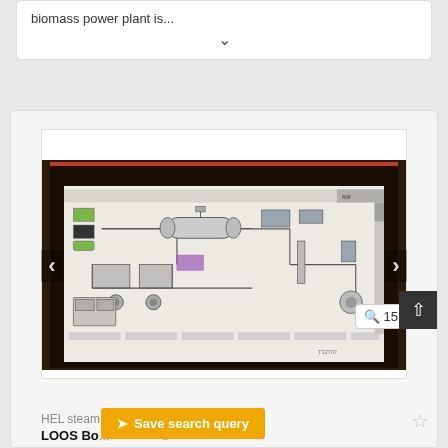biomass power plant is...
[Figure (screenshot): Screenshot of a SCADA/HMI control system schematic for a steam generating engine or boiler system, displayed on a monitor. The screen shows a process flow diagram with components including tanks, pumps, pipes, valves, and control elements connected by flow lines. Navigation arrows are visible on left and right sides of the image viewer. A zoom indicator shows '15'. An upload button is in the top right corner. A watermark 'T32707' is visible at the bottom right of the screen.]
HEL steam generating engine
LOOS Bo... O
✦ Save search query